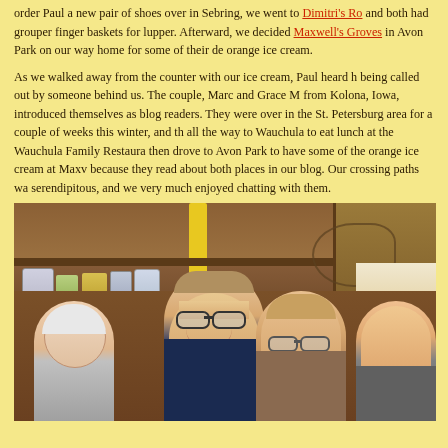order Paul a new pair of shoes over in Sebring, we went to Dimitri's Ro and both had grouper finger baskets for lupper. Afterward, we decided Maxwell's Groves in Avon Park on our way home for some of their de orange ice cream.
As we walked away from the counter with our ice cream, Paul heard h being called out by someone behind us. The couple, Marc and Grace M from Kolona, Iowa, introduced themselves as blog readers. They were over in the St. Petersburg area for a couple of weeks this winter, and th all the way to Wauchula to eat lunch at the Wauchula Family Restaura then drove to Avon Park to have some of the orange ice cream at Maxw because they read about both places in our blog. Our crossing paths wa serendipitous, and we very much enjoyed chatting with them.
[Figure (photo): Group photo of four people smiling inside what appears to be a rustic restaurant or store with wooden cabinets and shelves. A man in the center is wearing a cap and glasses. A woman is to his right. Two other people are visible on the left and far right.]